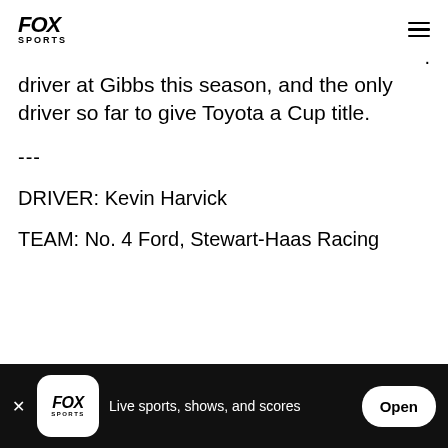FOX SPORTS
driver at Gibbs this season, and the only driver so far to give Toyota a Cup title.
---
DRIVER: Kevin Harvick
TEAM: No. 4 Ford, Stewart-Haas Racing
FOX SPORTS – Live sports, shows, and scores – Open